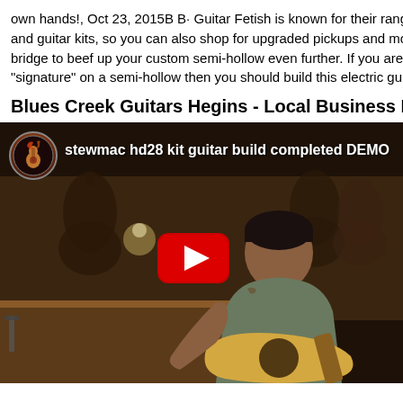own hands!, Oct 23, 2015B B· Guitar Fetish is known for their range and guitar kits, so you can also shop for upgraded pickups and more bridge to beef up your custom semi-hollow even further. If you are s "signature" on a semi-hollow then you should build this electric guita
Blues Creek Guitars Hegins - Local Business Facebook
[Figure (screenshot): YouTube video thumbnail showing a man playing an acoustic guitar in a workshop/luthier setting with guitar bodies hanging in the background. The video title reads 'stewmac hd28 kit guitar build completed DEMO'. A YouTube play button (red rectangle with white triangle) is overlaid in the center-right area. A circular channel icon is visible in the top-left corner.]